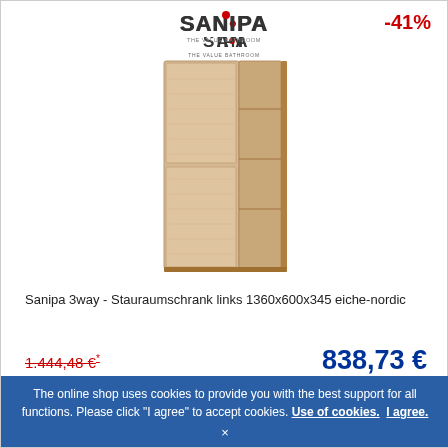[Figure (logo): SANIPA brand logo with red dot above the letter I, and tagline below]
-41%
[Figure (photo): Sanipa 3way storage cabinet, tall, light oak wood finish, left-opening, with shelves visible on right side]
Sanipa 3way - Stauraumschrank links 1360x600x345 eiche-nordic
1.444,48 €*
838,73 €
The online shop uses cookies to provide you with the best support for all functions. Please click "I agree" to accept cookies. Use of cookies. I agree.